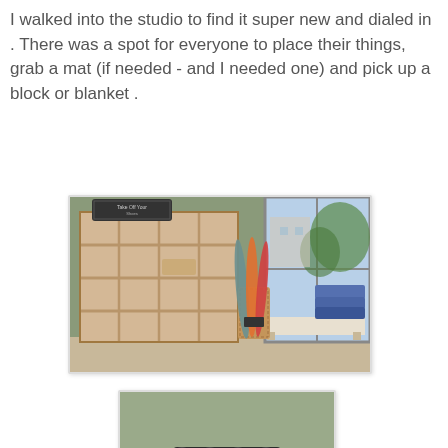I walked into the studio to find it super new and dialed in . There was a spot for everyone to place their things, grab a mat (if needed - and I needed one) and pick up a block or blanket .
[Figure (photo): Interior photo of a yoga studio showing a wooden cubby shelf unit on the left, yoga mat rolls in a wicker basket in the center, a bench along the wall, blue foam blocks stacked near a large window on the right showing trees outside.]
[Figure (photo): Close-up photo of a chalkboard sign reading 'Take Off Your Shoes and Stay a While' placed on top of a wooden cubby shelf unit, with the lower cubby compartments visible below.]